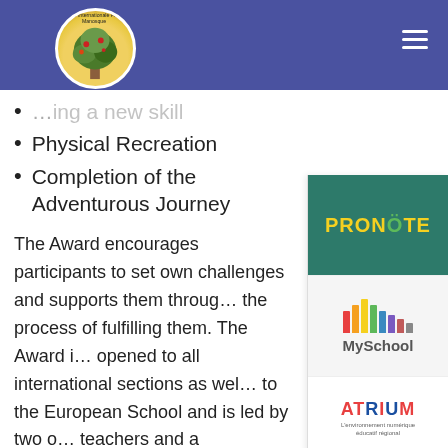Ecole Internationale PACA Manosque — navigation header
…ing a new skill
Physical Recreation
Completion of the Adventurous Journey
The Award encourages participants to set own challenges and supports them through the process of fulfilling them. The Award is opened to all international sections as well to the European School and is led by two o… teachers and a professional Mountain Guid…
For further information about the Award g… to www.intaward.org or the Club's page